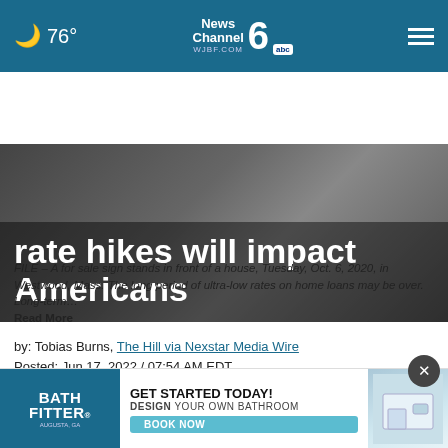76° | News Channel 6 WJBF.COM abc
rate hikes will impact Americans
FILE – A for sale sign stands in front of a house, Tuesday, Oct. 6, 2020, in Westwood, Mass. The long period of ultra-low rates on home loans may be over. Long-term… Read More
by: Tobias Burns, The Hill via Nexstar Media Wire
Posted: Jun 17, 2022 / 07:54 AM EDT
Updated: Jun 17, 2022 / 07:54 AM EDT
SHARE
[Figure (infographic): Bath Fitter advertisement: GET STARTED TODAY! DESIGN YOUR OWN BATHROOM BOOK NOW]
(The H... and a 75-basis point interest rate hike on Wednesday, a 50